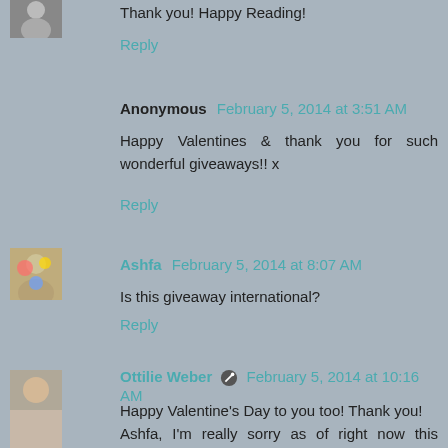Thank you! Happy Reading!
Reply
Anonymous  February 5, 2014 at 3:51 AM
Happy Valentines & thank you for such wonderful giveaways!! x
Reply
Ashfa  February 5, 2014 at 8:07 AM
Is this giveaway international?
Reply
Ottilie Weber  February 5, 2014 at 10:16 AM
Happy Valentine's Day to you too! Thank you! Ashfa, I'm really sorry as of right now this giveaway is not international, all these snow days are cutting into my